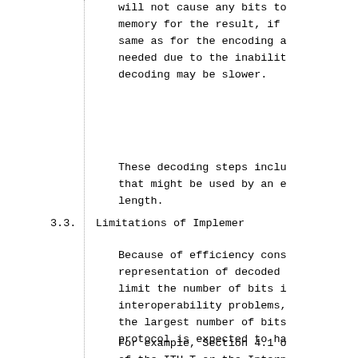will not cause any bits to memory for the result, if same as for the encoding a needed due to the inabilit decoding may be slower.
These decoding steps inclu that might be used by an e length.
3.3.  Limitations of Impleme
Because of efficiency cons representation of decoded limit the number of bits i interoperability problems, the largest number of bits protocol is expected to ha
For example, Section 4.1 o of the ITU-T or the Intern